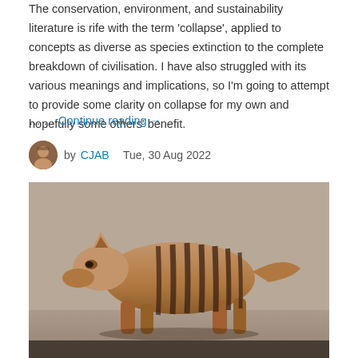The conservation, environment, and sustainability literature is rife with the term 'collapse', applied to concepts as diverse as species extinction to the complete breakdown of civilisation. I have also struggled with its various meanings and implications, so I'm going to attempt to provide some clarity on collapse for my own and hopefully some others' benefit.
… … Continue reading →
by CJAB   Tue, 30 Aug 2022
[Figure (photo): Photograph of a thylacine (Tasmanian tiger), a striped marsupial carnivore with brown fur and dark stripes across its back, walking on a concrete or stone surface.]